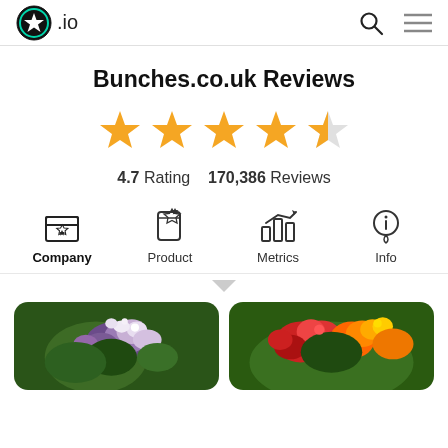★.io — navigation header with search and menu icons
Bunches.co.uk Reviews
[Figure (other): 4.5 star rating display with 5 gold stars (4 full, 1 half)]
4.7 Rating   170,386 Reviews
[Figure (infographic): Navigation tabs: Company (selected), Product, Metrics, Info with icons]
[Figure (photo): Two flower bouquet photos side by side — left: purple and white bouquet, right: red and yellow roses]